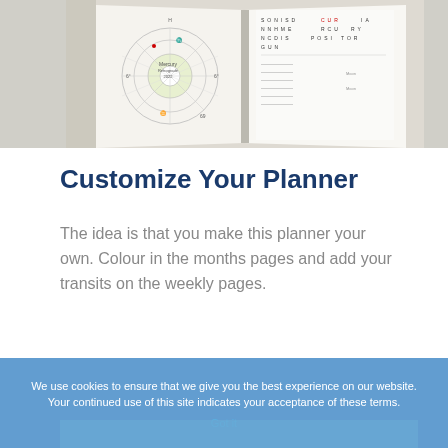[Figure (photo): Open book/planner showing an astrological chart wheel on the left page and a word search or grid table on the right page, lying on a beige/gray surface.]
Customize Your Planner
The idea is that you make this planner your own. Colour in the months pages and add your transits on the weekly pages.
We use cookies to ensure that we give you the best experience on our website. Your continued use of this site indicates your acceptance of these terms.
Got it